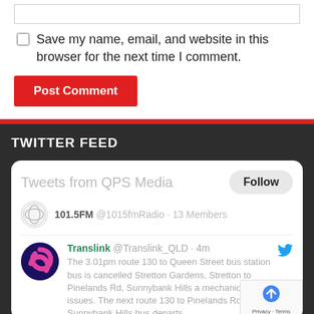[Figure (screenshot): Input text box at the top of a web form]
Save my name, email, and website in this browser for the next time I comment.
Post Comment
TWITTER FEED
[Figure (screenshot): Embedded Twitter widget showing 'Tweets from QPS Media' with a Follow button, a list header showing 101.5FM @1015fmRadio · 13 Members, and a tweet from Translink @Translink_QLD · 4m: The 3.01pm route 130 to Queen Street bus station bus is cancelled Stretton Gardens, Stretton to Pinelands Rd, Sunnybank Hills a mechanical issues. The next route 130 to Pinelands Rd, Sunnybank Hills bus departs...]